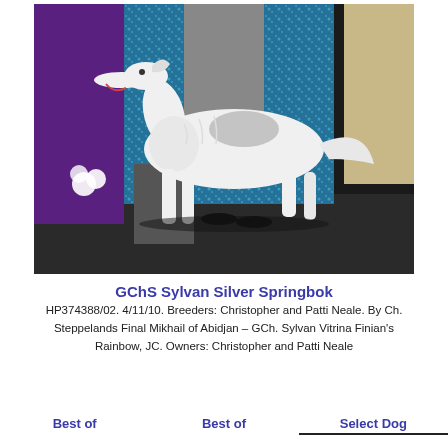[Figure (photo): A large white and grey Borzoi (Russian Wolfhound) dog standing in show pose on a dark floor, with people in formal wear visible in the background, blue sequined curtain backdrop.]
GChS Sylvan Silver Springbok
HP374388/02. 4/11/10. Breeders: Christopher and Patti Neale. By Ch. Steppelands Final Mikhail of Abidjan – GCh. Sylvan Vitrina Finian's Rainbow, JC. Owners: Christopher and Patti Neale
Best of   Best of   Select Dog